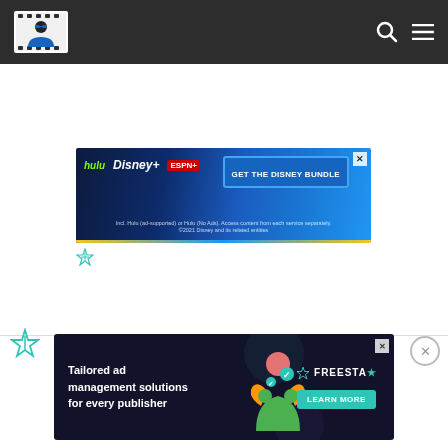Website header with logo, search icon, and menu icon
[Figure (screenshot): Disney Bundle advertisement banner: hulu, Disney+, ESPN+ logos with 'GET THE DISNEY BUNDLE' CTA. Fine print: Incl. Hulu (ad-supported) or Hulu (No Ads). Access content from each service separately. ©2021 Disney and its related entities]
[Figure (logo): Small Freestar logo icon in teal/green color]
[Figure (logo): Larger Freestar logo icon in teal/green color on bottom bar]
[Figure (screenshot): Freestar advertisement: 'Tailored ad management solutions for every publisher' with LEARN MORE button and Freestar logo]